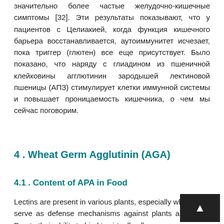значительно более частые желудочно-кишечные симптомы [32]. Эти результаты показывают, что у пациентов с Целиакией, когда функция кишечного барьера восстанавливается, аутоиммунитет исчезает, пока триггер (глютен) все еще присутствует. Было показано, что наряду с глиадином из пшеничной клейковины агглютинин зародышей лектиновой пшеницы (АПЗ) стимулирует клетки иммунной системы и повышает проницаемость кишечника, о чем мы сейчас поговорим.
4 . Wheat Germ Agglutinin (AGA)
4.1 . Content of APA in Food
Lectins are present in various plants, especially where they serve as defense mechanisms against plants and fungi. Due to their ability to bind to virtually all